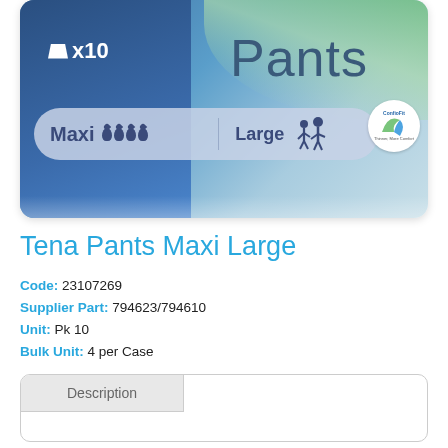[Figure (photo): Product packaging photo of Tena Pants Maxi Large – blue and light blue packaging showing 'Pants x10', 'Maxi' with drop icons, 'Large' size, ConfioFit logo badge]
Tena Pants Maxi Large
Code: 23107269
Supplier Part: 794623/794610
Unit: Pk 10
Bulk Unit: 4 per Case
Description